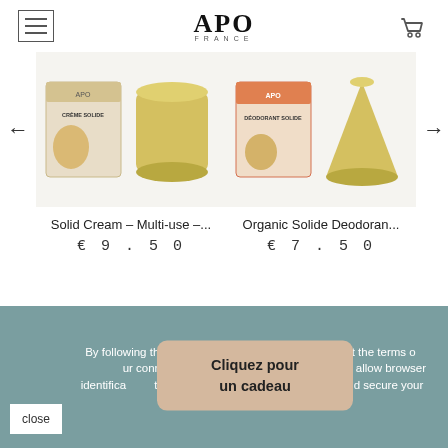APO FRANCE
[Figure (photo): Product photo: Solid Cream box and yellow cylindrical solid cream bar on beige background]
[Figure (photo): Product photo: Organic Solide Deodorant box and yellow cone-shaped solid deodorant on beige background]
Solid Cream – Multi-use –...
€ 9 . 5 0
Organic Solide Deodoran...
€ 7 . 5 0
CUSTOMERS WHO BOUGHT THIS PRODUCT ALSO
By following through this website, you have to accept the terms of our connected device. These (files) allow browser identification the next, update your shopping cart, and secure your connection. Learn more
Cliquez pour un cadeau
close